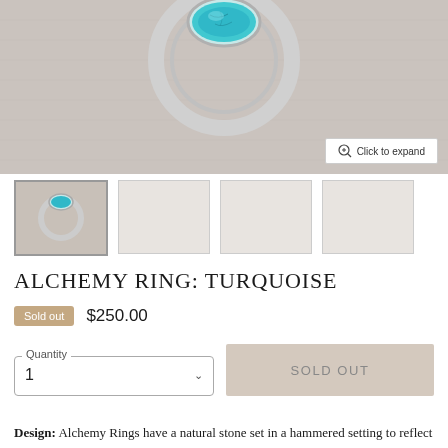[Figure (photo): Close-up photo of a turquoise oval stone ring set in silver, resting on a linen fabric background. A 'Click to expand' button appears in the lower right corner.]
[Figure (photo): Thumbnail gallery with 4 images: first is active showing the turquoise ring, remaining three are blank/light gray placeholders.]
ALCHEMY RING: TURQUOISE
Sold out  $250.00
Quantity 1
SOLD OUT
Design:  Alchemy Rings have a natural stone set in a hammered setting to reflect the light of the cosmos and